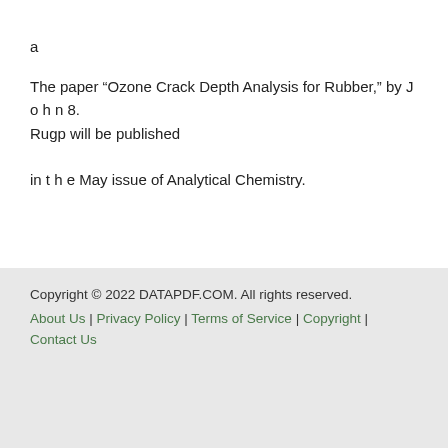a
The paper “Ozone Crack Depth Analysis for Rubber,” by J o h n 8. Rugp will be published in t h e May issue of Analytical Chemistry.
Copyright © 2022 DATAPDF.COM. All rights reserved.
About Us | Privacy Policy | Terms of Service | Copyright | Contact Us